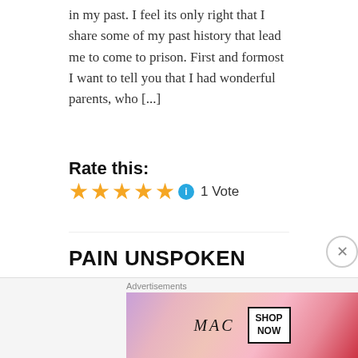in my past. I feel its only right that I share some of my past history that lead me to come to prison. First and formost I want to tell you that I had wonderful parents, who [...]
Rate this:
[Figure (other): 5 gold/yellow stars rating widget with a blue info icon and '1 Vote' text]
PAIN UNSPOKEN
ON SEPTEMBER 10, 2015 • ( 2 COMMENTS )
Today my Celly found out his mom died. My celly is doing 21 years for killing the man who raped his sister. His cousins who went with him, all turned states evidence against him in exchange for a lesser
[Figure (photo): MAC Cosmetics advertisement showing lipsticks in purple, pink, and red colors with MAC logo and SHOP NOW button]
Advertisements